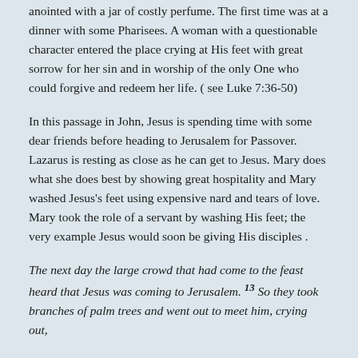anointed with a jar of costly perfume. The first time was at a dinner with some Pharisees. A woman with a questionable character entered the place crying at His feet with great sorrow for her sin and in worship of the only One who could forgive and redeem her life. ( see Luke 7:36-50)
In this passage in John, Jesus is spending time with some dear friends before heading to Jerusalem for Passover. Lazarus is resting as close as he can get to Jesus. Mary does what she does best by showing great hospitality and Mary washed Jesus's feet using expensive nard and tears of love. Mary took the role of a servant by washing His feet; the very example Jesus would soon be giving His disciples .
The next day the large crowd that had come to the feast heard that Jesus was coming to Jerusalem. 13 So they took branches of palm trees and went out to meet him, crying out,